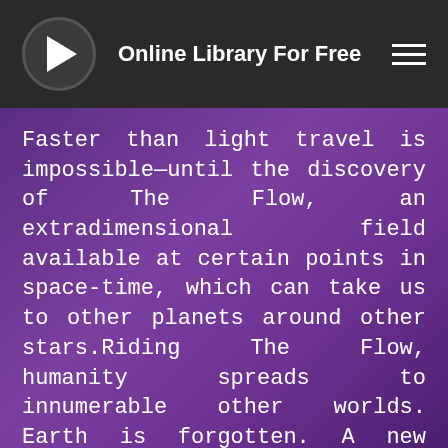Online Library For Free
Faster than light travel is impossible—until the discovery of The Flow, an extradimensional field available at certain points in space-time, which can take us to other planets around other stars.Riding The Flow, humanity spreads to innumerable other worlds. Earth is forgotten. A new empire arises, the Interdependency, based on the doctrine that no one human outpost can survive without the others. It's a hedge against interstellar war—and, for the empire's rulers, a system of control.The Flow is eternal—but it's not static. Just as a